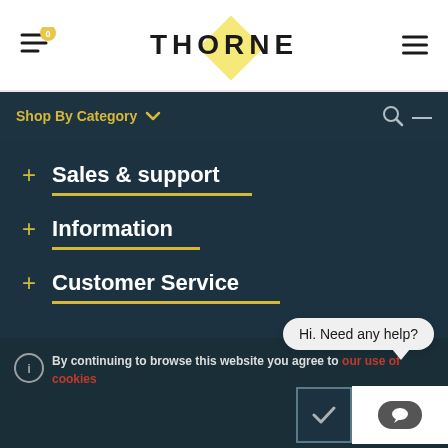THORNE
Shop By Category
+ Sales & support
+ Information
+ Customer Service
Hi. Need any help?
By continuing to browse this website you agree to our use of cookies